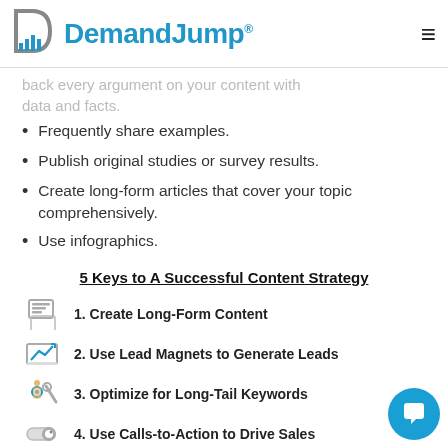DemandJump
back every argument on your content with data and facts.
Frequently share examples.
Publish original studies or survey results.
Create long-form articles that cover your topic comprehensively.
Use infographics.
5 Keys to A Successful Content Strategy
1. Create Long-Form Content
2. Use Lead Magnets to Generate Leads
3. Optimize for Long-Tail Keywords
4. Use Calls-to-Action to Drive Sales
5. Get Backlinks to Improve Site Authority